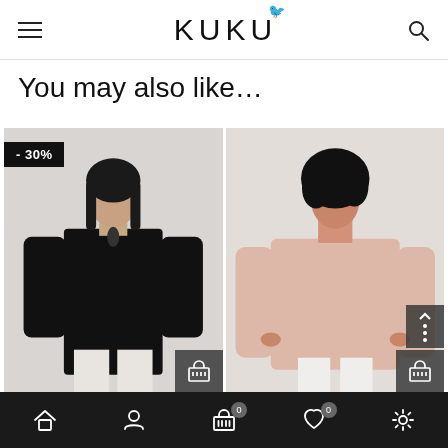KUKU
You may also like...
[Figure (photo): Fashion product photo: woman wearing black long-sleeve blouse with tie neck, white pants; -30% discount badge; cart icon overlay]
[Figure (photo): Fashion product photo: woman wearing pink/blush oversized long-sleeve blouse, white pants; cart icon overlay]
Home | Account | Cart 0 | Wishlist 0 | Settings